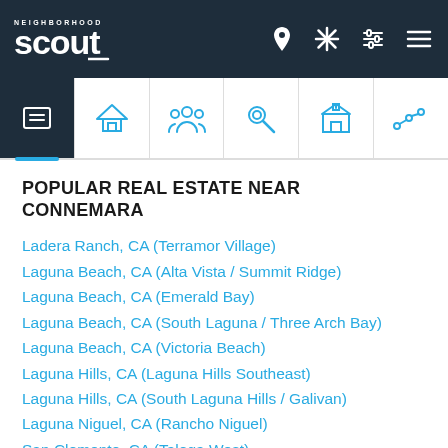NeighborhoodScout navigation bar
POPULAR REAL ESTATE NEAR CONNEMARA
Ladera Ranch, CA (Terramor Village)
Laguna Beach, CA (Alta Vista / Summit Ridge)
Laguna Beach, CA (Emerald Bay)
Laguna Beach, CA (South Laguna / Three Arch Bay)
Laguna Beach, CA (Victoria Beach)
Laguna Hills, CA (Laguna Hills Southeast)
Laguna Hills, CA (South Laguna Hills / Galivan)
Laguna Niguel, CA (Rancho Niguel)
San Clemente, CA (Talega West)
Trabuco Canyon, CA (Coto de Caza Golf and Resort...)